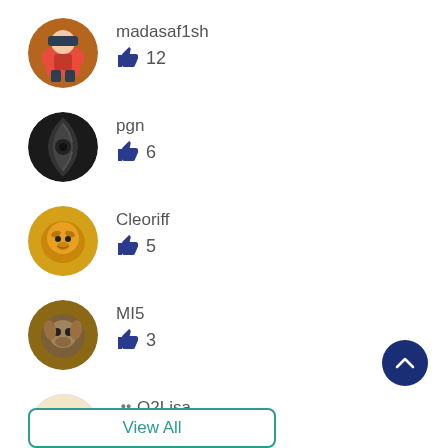madasaf1sh — 👍 12
pgn — 👍 6
Cleoriff — 👍 5
MI5 — 👍 3
👥 O2Lisa — 👍 3
View All